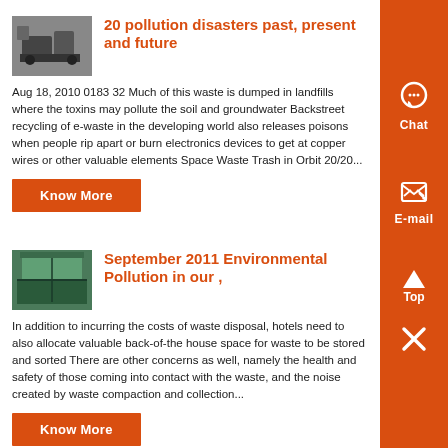[Figure (photo): Industrial machinery thumbnail image]
20 pollution disasters past, present and future
Aug 18, 2010 0183 32 Much of this waste is dumped in landfills where the toxins may pollute the soil and groundwater Backstreet recycling of e-waste in the developing world also releases poisons when people rip apart or burn electronics devices to get at copper wires or other valuable elements Space Waste Trash in Orbit 20/20...
[Figure (photo): Swimming pool or large indoor facility thumbnail image]
September 2011 Environmental Pollution in our ,
In addition to incurring the costs of waste disposal, hotels need to also allocate valuable back-of-the house space for waste to be stored and sorted There are other concerns as well, namely the health and safety of those coming into contact with the waste, and the noise created by waste compaction and collection...